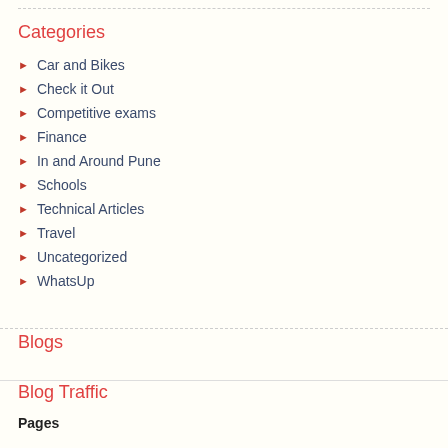Categories
Car and Bikes
Check it Out
Competitive exams
Finance
In and Around Pune
Schools
Technical Articles
Travel
Uncategorized
WhatsUp
Blogs
Blog Traffic
Pages